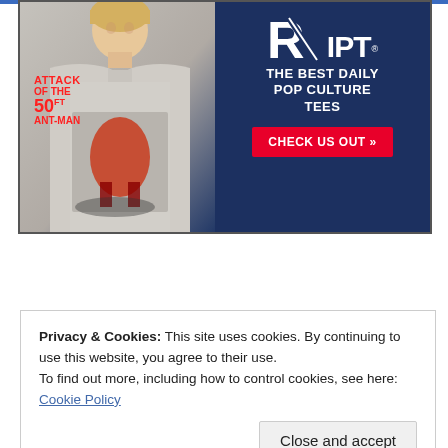[Figure (illustration): Advertisement banner for RIPT apparel. Left side shows a woman wearing a gray t-shirt with 'Attack of the 50ft Ant-Man' graphic design featuring a red costumed character. Right side has dark blue background with RIPT logo and text 'THE BEST DAILY POP CULTURE TEES' and a red button 'CHECK US OUT >>']
Privacy & Cookies: This site uses cookies. By continuing to use this website, you agree to their use.
To find out more, including how to control cookies, see here: Cookie Policy
Close and accept